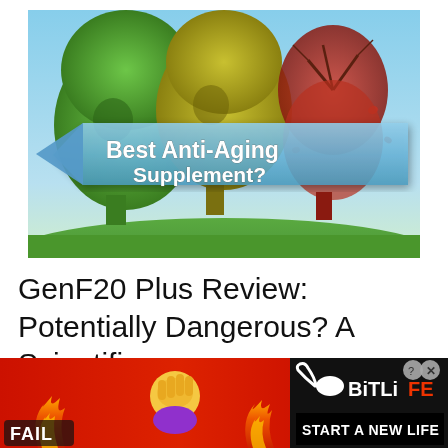[Figure (illustration): Three human head silhouettes made of tree foliage representing aging stages: green leafy tree (youth), yellow-green tree (middle age), bare reddish tree (old age). A blue arrow banner across the middle reads 'Best Anti-Aging Supplement?' in bold white text.]
GenF20 Plus Review: Potentially Dangerous? A Scientific…
[Figure (illustration): Advertisement banner for BitLife game. Red and orange background with fire elements, 'FAIL' text, facepalm emoji, flame graphic on left side. Right side shows BitLife logo with sperm icon and text 'START A NEW LIFE' on black background. Also shows a small close/help button overlay.]